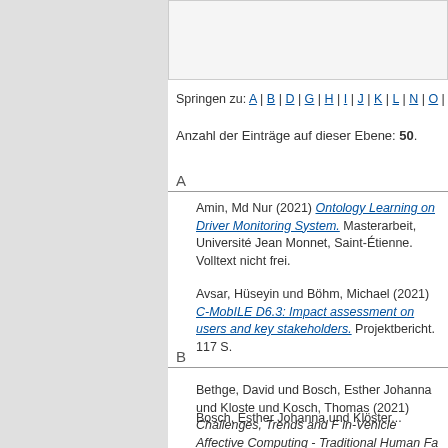Springen zu: A | B | D | G | H | I | J | K | L | N | O | Q | S | W
Anzahl der Einträge auf dieser Ebene: 50.
A
Amin, Md Nur (2021) Ontology Learning on Driver Monitoring System. Masterarbeit, Université Jean Monnet, Saint-Étienne. Volltext nicht frei.
Avsar, Hüseyin und Böhm, Michael (2021) C-MobILE D6.3: Impact assessment on users and key stakeholders. Projektbericht. 117 S.
B
Bethge, David und Bosch, Esther Johanna und Kloste und Kosch, Thomas (2021) Challenges, Trends and F in-Vehicle Affective Computing - Traditional Human Fa Approaches vs. Machine Learning. Neuroergonomics Sep. 2021, München. Volltext nicht online.
Bosch, Esther Johanna und Klöster... (partial)